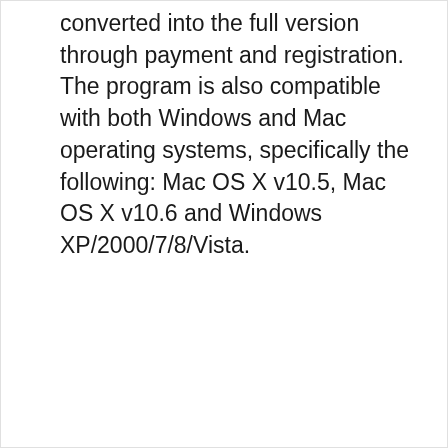converted into the full version through payment and registration. The program is also compatible with both Windows and Mac operating systems, specifically the following: Mac OS X v10.5, Mac OS X v10.6 and Windows XP/2000/7/8/Vista.